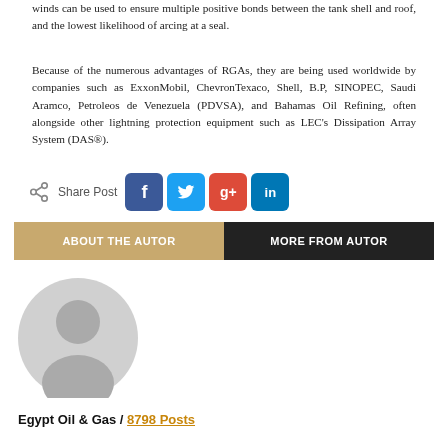winds can be used to ensure multiple positive bonds between the tank shell and roof, and the lowest likelihood of arcing at a seal.
Because of the numerous advantages of RGAs, they are being used worldwide by companies such as ExxonMobil, ChevronTexaco, Shell, B.P, SINOPEC, Saudi Aramco, Petroleos de Venezuela (PDVSA), and Bahamas Oil Refining, often alongside other lightning protection equipment such as LEC's Dissipation Array System (DAS®).
[Figure (infographic): Share Post buttons for Facebook, Twitter, Google+, and LinkedIn social media platforms]
ABOUT THE AUTOR | MORE FROM AUTOR
[Figure (photo): Default grey avatar/profile photo placeholder icon]
Egypt Oil & Gas  /  8798 Posts